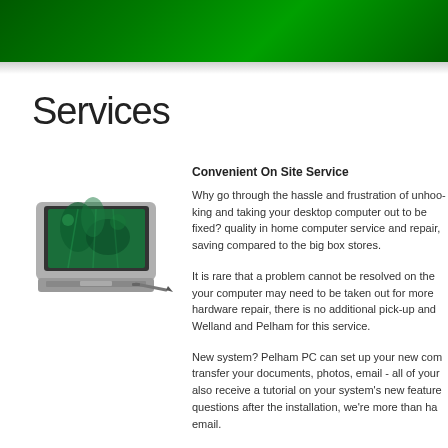Services
[Figure (illustration): Illustration of a small laptop/netbook computer with a green screen displaying an underwater scene, with a stylus pen beside it.]
Convenient On Site Service
Why go through the hassle and frustration of unhooking and taking your desktop computer out to be fixed? quality in home computer service and repair, saving compared to the big box stores.
It is rare that a problem cannot be resolved on the your computer may need to be taken out for more hardware repair, there is no additional pick-up and Welland and Pelham for this service.
New system? Pelham PC can set up your new com transfer your documents, photos, email - all of your also receive a tutorial on your system's new feature questions after the installation, we're more than ha email.